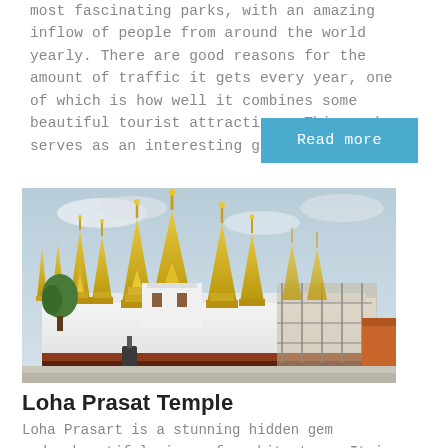most fascinating parks, with an amazing inflow of people from around the world yearly. There are good reasons for the amount of traffic it gets every year, one of which is how well it combines some beautiful tourist attractions. This park serves as an interesting getaway from
Read more
[Figure (photo): Photograph of Loha Prasat Temple in Thailand showing ornate multi-tiered golden spires on a white building with a overcast sky background]
Loha Prasat Temple
Loha Prasart is a stunning hidden gem and a beautiful piece of architecture. It is among the quiet and beautiful temples in Thailand whose golden rooften is